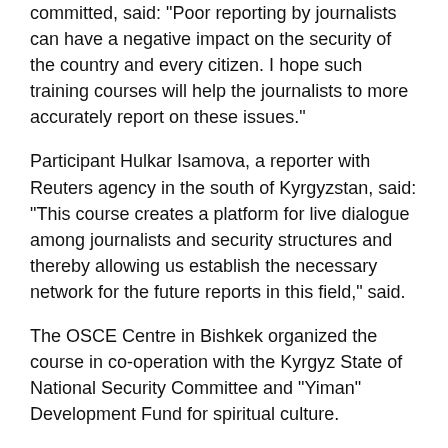committed, said: "Poor reporting by journalists can have a negative impact on the security of the country and every citizen. I hope such training courses will help the journalists to more accurately report on these issues."
Participant Hulkar Isamova, a reporter with Reuters agency in the south of Kyrgyzstan, said: “This course creates a platform for live dialogue among journalists and security structures and thereby allowing us establish the necessary network for the future reports in this field,” said.
The OSCE Centre in Bishkek organized the course in co-operation with the Kyrgyz State of National Security Committee and "Yiman" Development Fund for spiritual culture.
Experts from the State Committee, the director of the independent analytical centre “Religion, law and politics,” a theologian and a prosecutor from Osh region spoke about the violent extremism and terrorism situation in Kyrgyzstan and the use of Internet in spreading ideas promoting intolerance.